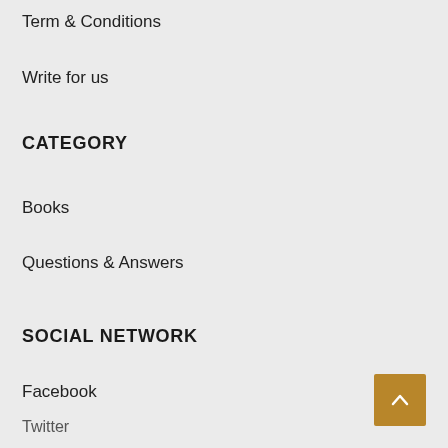Term & Conditions
Write for us
CATEGORY
Books
Questions & Answers
SOCIAL NETWORK
Facebook
Twitter
Tumblr
WordPress